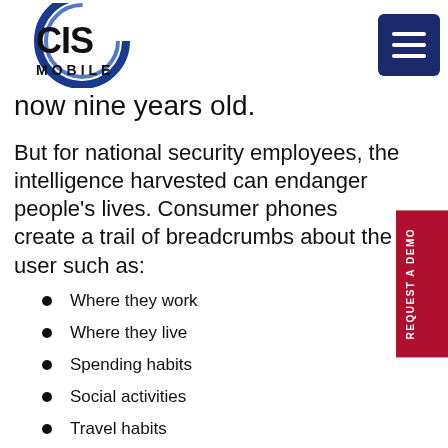CIS Mobile logo and navigation
now nine years old.
But for national security employees, the intelligence harvested can endanger people's lives. Consumer phones create a trail of breadcrumbs about the user such as:
Where they work
Where they live
Spending habits
Social activities
Travel habits